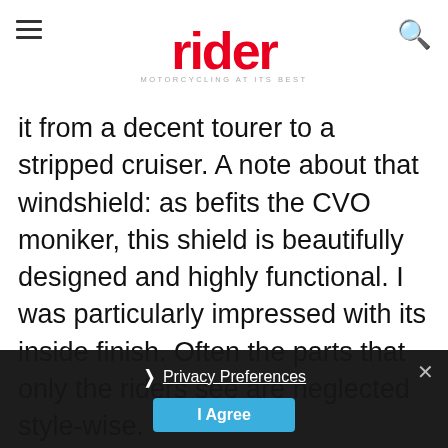rider — MOTORCYCLING AT ITS BEST
it from a decent tourer to a stripped cruiser. A note about that windshield: as befits the CVO moniker, this shield is beautifully designed and highly functional. I was particularly impressed with its inside finish. Often the parts that only the riders see are neglected style-wise.
[Figure (infographic): KTM advertisement banner: BREAK LOOSE — NO PAYMENTS, NO INTEREST FOR 60 DAYS ON SELECT ADVENTURE MODELS. Click Here button. KTM logo in orange.]
[Figure (photo): Dark motorcycle image in background, partially visible.]
Privacy Preferences
I Agree